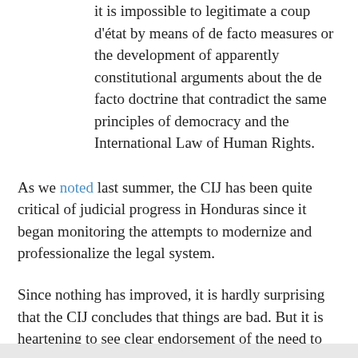it is impossible to legitimate a coup d'état by means of de facto measures or the development of apparently constitutional arguments about the de facto doctrine that contradict the same principles of democracy and the International Law of Human Rights.
As we noted last summer, the CIJ has been quite critical of judicial progress in Honduras since it began monitoring the attempts to modernize and professionalize the legal system.
Since nothing has improved, it is hardly surprising that the CIJ concludes that things are bad. But it is heartening to see clear endorsement of the need to address impunity and the targeted killings of women, lawyers, and journalists advanced by an international body that is not afraid to say that a coup cannot be put behind simply by recognizing an election.
It is a message the US would do well to heed.